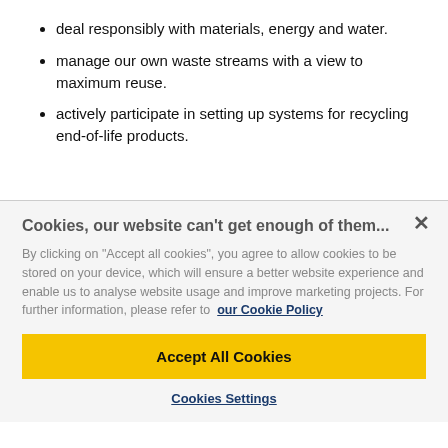deal responsibly with materials, energy and water.
manage our own waste streams with a view to maximum reuse.
actively participate in setting up systems for recycling end-of-life products.
Cookies, our website can't get enough of them...
By clicking on "Accept all cookies", you agree to allow cookies to be stored on your device, which will ensure a better website experience and enable us to analyse website usage and improve marketing projects. For further information, please refer to our Cookie Policy
Accept All Cookies
Cookies Settings